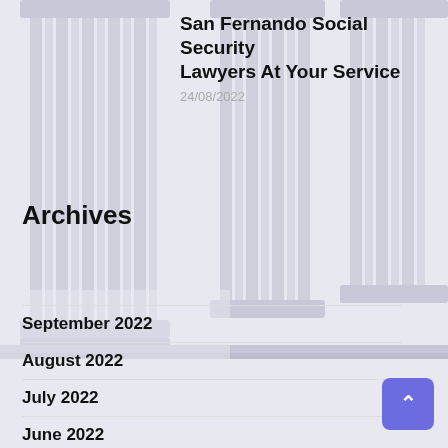[Figure (illustration): Background image of classical Greek/Roman style stone columns, light gray/white faded tone across the full page]
San Fernando Social Security Lawyers At Your Service
24/08/2022
Archives
September 2022
August 2022
July 2022
June 2022
May 2022
April 2022
March 2022